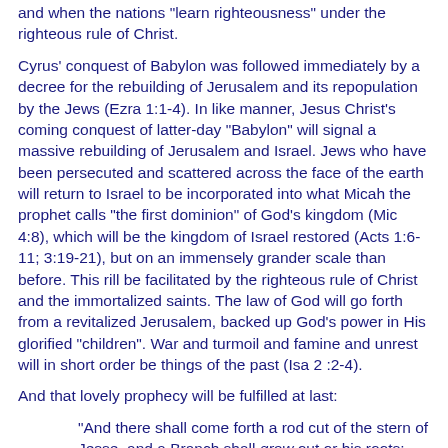and when the nations "learn righteousness" under the righteous rule of Christ.
Cyrus' conquest of Babylon was followed immediately by a decree for the rebuilding of Jerusalem and its repopulation by the Jews (Ezra 1:1-4). In like manner, Jesus Christ's coming conquest of latter-day "Babylon" will signal a massive rebuilding of Jerusalem and Israel. Jews who have been persecuted and scattered across the face of the earth will return to Israel to be incorporated into what Micah the prophet calls "the first dominion" of God's kingdom (Mic 4:8), which will be the kingdom of Israel restored (Acts 1:6-11; 3:19-21), but on an immensely grander scale than before. This rill be facilitated by the righteous rule of Christ and the immortalized saints. The law of God will go forth from a revitalized Jerusalem, backed up God's power in His glorified "children". War and turmoil and famine and unrest will in short order be things of the past (Isa 2 :2-4).
And that lovely prophecy will be fulfilled at last:
"And there shall come forth a rod cut of the stern of Jesse, and a Branch shall grow out or his roots: And the spirit of the Lord shall rest upon him, the spirit of wisdom and under-standing, the spirit of counsel and night, the spirit of knowledge and of the fear of the Lord; And shall make him of quick understanding in the fear of the Lord: and he shall not judge after the sight